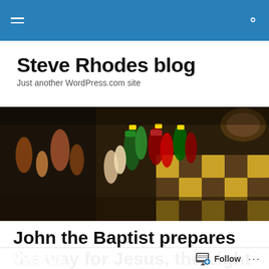Steve Rhodes blog navigation bar
Steve Rhodes blog
Just another WordPress.com site
[Figure (photo): Colorful decorative chess pieces on a chessboard, shot with shallow depth of field. Pieces are painted in red, green, and orange tones.]
John the Baptist prepares the way for Jesus, the Light of the World.
Follow ...